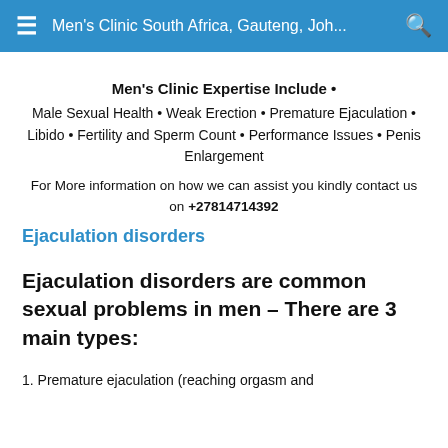Men's Clinic South Africa, Gauteng, Joh...
Men's Clinic Expertise Include •
Male Sexual Health • Weak Erection • Premature Ejaculation • Libido • Fertility and Sperm Count • Performance Issues • Penis Enlargement
For More information on how we can assist you kindly contact us on +27814714392
Ejaculation disorders
Ejaculation disorders are common sexual problems in men – There are 3 main types:
1. Premature ejaculation (reaching orgasm and